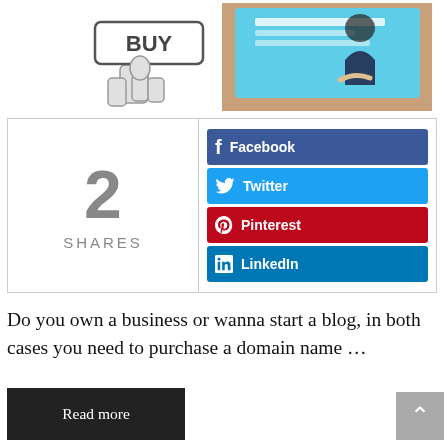[Figure (illustration): Top portion of page showing two images: a hand clicking a 'BUY' button illustration on the left, and a person at a laptop computer on the right.]
2 SHARES
[Figure (infographic): Social share buttons: Facebook, Twitter, Pinterest, LinkedIn]
Do you own a business or wanna start a blog, in both cases you need to purchase a domain name …
Read more